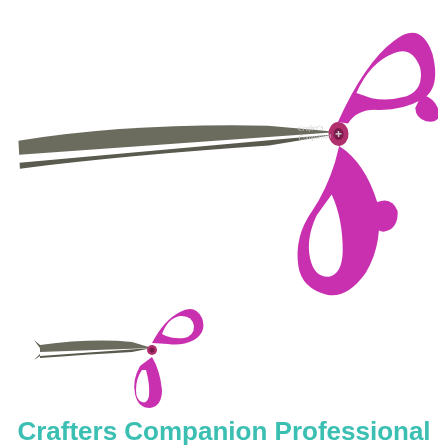[Figure (illustration): Large scissors with purple/magenta ergonomic handles and dark gray stainless steel blades, open position, with 'Crafter's Companion' text on the blade near the pivot screw. Shown top-down on a white background.]
[Figure (illustration): Small scissors with purple/magenta handles and dark gray blades, shown in open position. Same style as the large scissors above, shown for size comparison.]
Crafters Companion Professional